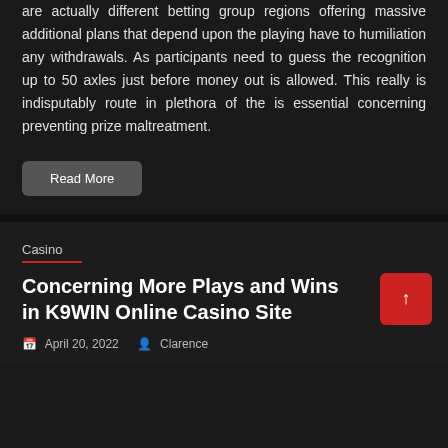are actually different betting group regions offering massive additional plans that depend upon the playing have to humiliation any withdrawals. As participants need to guess the recognition up to 50 axles just before money out is allowed. This really is indisputably route in plethora of the is essential concerning preventing prize maltreatment.
Read More
Casino
Concerning More Plays and Wins in K9WIN Online Casino Site
April 20, 2022   Clarence